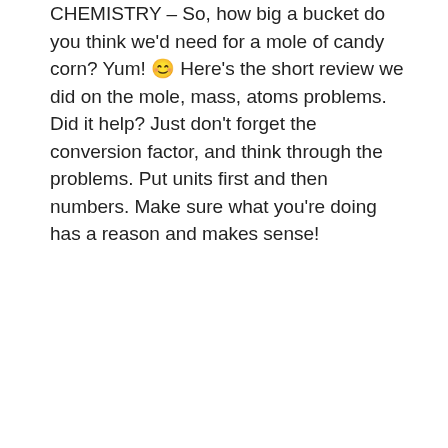CHEMISTRY – So, how big a bucket do you think we'd need for a mole of candy corn? Yum! 😊 Here's the short review we did on the mole, mass, atoms problems. Did it help? Just don't forget the conversion factor, and think through the problems. Put units first and then numbers. Make sure what you're doing has a reason and makes sense!